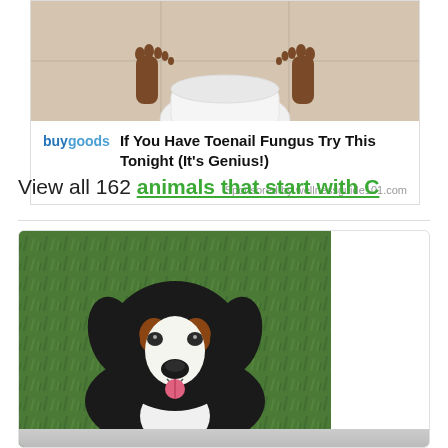[Figure (photo): Advertisement image showing person's feet standing near a white bowl/toilet, with buygoods logo and text 'If You Have Toenail Fungus Try This Tonight (It's Genius!)' sponsored by wellnessguide101.com]
View all 162 animals that start with C
[Figure (photo): Photo of a Bernese Mountain Dog with black, white, and brown coloring, sitting on green grass, tongue out, looking at camera]